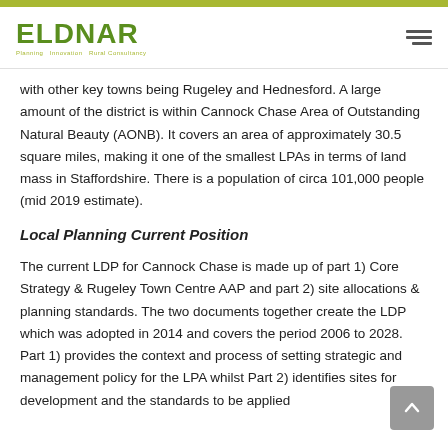ELDNAR — Planning · Innovation · Rural Consultancy
with other key towns being Rugeley and Hednesford. A large amount of the district is within Cannock Chase Area of Outstanding Natural Beauty (AONB). It covers an area of approximately 30.5 square miles, making it one of the smallest LPAs in terms of land mass in Staffordshire. There is a population of circa 101,000 people (mid 2019 estimate).
Local Planning Current Position
The current LDP for Cannock Chase is made up of part 1) Core Strategy & Rugeley Town Centre AAP and part 2) site allocations & planning standards. The two documents together create the LDP which was adopted in 2014 and covers the period 2006 to 2028. Part 1) provides the context and process of setting strategic and management policy for the LPA whilst Part 2) identifies sites for development and the standards to be applied